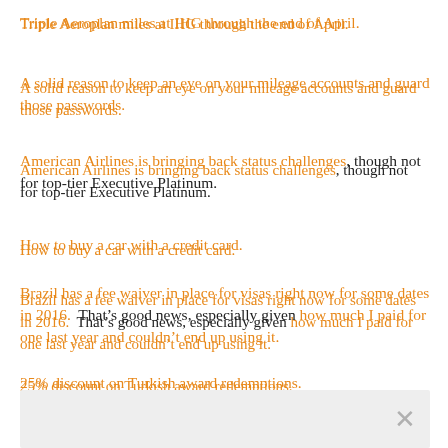Triple Aeroplan miles at IHG through the end of April.
A solid reason to keep an eye on your mileage accounts and guard those passwords.
American Airlines is bringing back status challenges, though not for top-tier Executive Platinum.
How to buy a car with a credit card.
Brazil has a fee waiver in place for visas right now for some dates in 2016.  That’s good news, especially given how much I paid for one last year and couldn’t end up using it.
25% discount on Turkish award redemptions.
2015 Darwin awards in aviation, via Trevor at Tagging Miles.
[Figure (other): Advertisement banner with close (X) button]